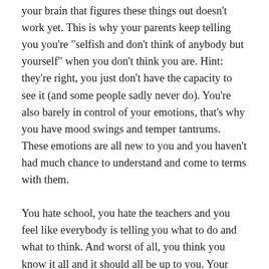your brain that figures these things out doesn't work yet. This is why your parents keep telling you you're "selfish and don't think of anybody but yourself" when you don't think you are. Hint: they're right, you just don't have the capacity to see it (and some people sadly never do). You're also barely in control of your emotions, that's why you have mood swings and temper tantrums. These emotions are all new to you and you haven't had much chance to understand and come to terms with them.
You hate school, you hate the teachers and you feel like everybody is telling you what to do and what to think. And worst of all, you think you know it all and it should all be up to you. Your only respite is being out with your mates. Perhaps there's a comfy bench on the corner of your high street you like to hang around on. Maybe you'll down the